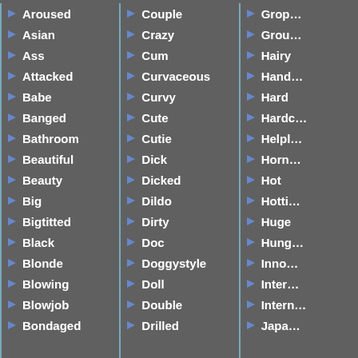Aroused
Asian
Ass
Attacked
Babe
Banged
Bathroom
Beautiful
Beauty
Big
Bigtitted
Black
Blonde
Blowing
Blowjob
Bondaged
Couple
Crazy
Cum
Curvaceous
Curvy
Cute
Cutie
Dick
Dicked
Dildo
Dirty
Doc
Doggystyle
Doll
Double
Drilled
Grop…
Grou…
Hairy
Hand…
Hard
Hardc…
Helpl…
Horn…
Hot
Hotti…
Huge
Hung…
Inno…
Inter…
Intern…
Japa…